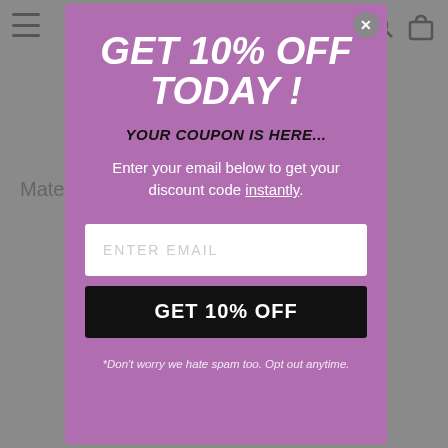[Figure (screenshot): E-commerce website page behind a modal popup, showing a navigation bar with hamburger menu and shopping bag icon, and partial product text 'Mate... quartz,' visible. At the bottom, partially visible text 'PACKAGE INCLUDES']
GET 10% OFF TODAY !
YOUR COUPON IS HERE...
Enter your email below to get your discount code instantly.
ENTER EMAIL
GET 10% OFF
*Don't worry we hate spam too. Opt out anytime.